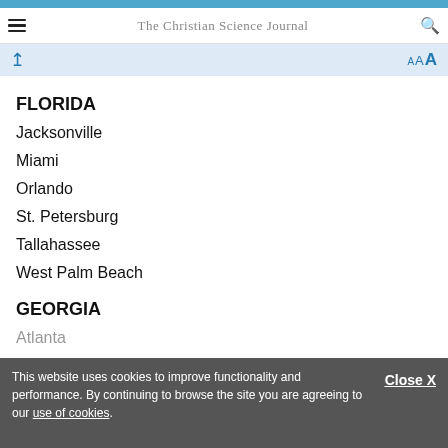The Christian Science Journal
FLORIDA
Jacksonville
Miami
Orlando
St. Petersburg
Tallahassee
West Palm Beach
GEORGIA
Atlanta
HAWAII
Honolulu
This website uses cookies to improve functionality and performance. By continuing to browse the site you are agreeing to our use of cookies.